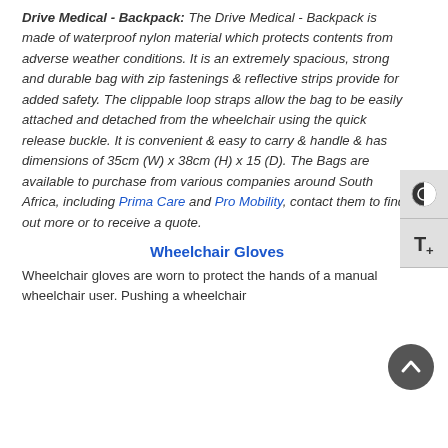Drive Medical - Backpack: The Drive Medical - Backpack is made of waterproof nylon material which protects contents from adverse weather conditions. It is an extremely spacious, strong and durable bag with zip fastenings & reflective strips provide for added safety. The clippable loop straps allow the bag to be easily attached and detached from the wheelchair using the quick release buckle. It is convenient & easy to carry & handle & has dimensions of 35cm (W) x 38cm (H) x 15 (D). The Bags are available to purchase from various companies around South Africa, including Prima Care and Pro Mobility, contact them to find out more or to receive a quote.
Wheelchair Gloves
Wheelchair gloves are worn to protect the hands of a manual wheelchair user. Pushing a wheelchair